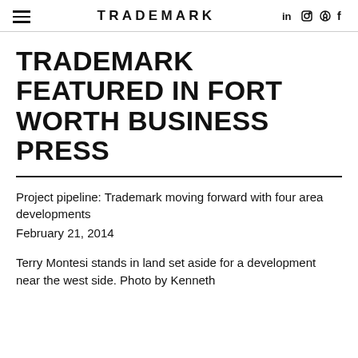TRADEMARK
TRADEMARK FEATURED IN FORT WORTH BUSINESS PRESS
Project pipeline: Trademark moving forward with four area developments
February 21, 2014
Terry Montesi stands in land set aside for a development near the west side. Photo by Kenneth